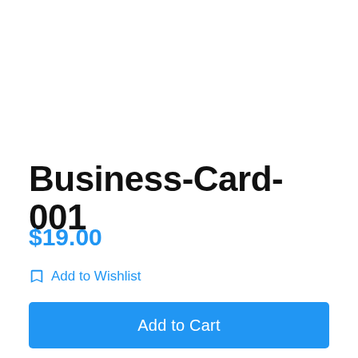Business-Card-001
$19.00
Add to Wishlist
Add to Cart